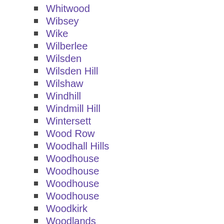Whitwood
Wibsey
Wike
Wilberlee
Wilsden
Wilsden Hill
Wilshaw
Windhill
Windmill Hill
Wintersett
Wood Row
Woodhall Hills
Woodhouse
Woodhouse
Woodhouse
Woodhouse
Woodkirk
Woodlands
Woodlesford